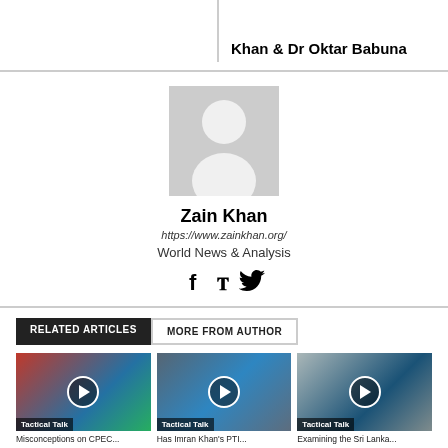Khan & Dr Oktar Babuna
[Figure (photo): Default avatar/placeholder person silhouette in gray]
Zain Khan
https://www.zainkhan.org/
World News & Analysis
[Figure (illustration): Social media icons: Facebook (f) and Twitter (bird)]
RELATED ARTICLES   MORE FROM AUTHOR
[Figure (photo): Tactical Talk video thumbnail 1 - globe and flags, play button overlay]
Misconceptions on CPEC...
[Figure (photo): Tactical Talk video thumbnail 2 - person at podium, play button overlay]
Has Imran Khan's PTI...
[Figure (photo): Tactical Talk video thumbnail 3 - news broadcast screenshot, play button overlay]
Examining the Sri Lanka...